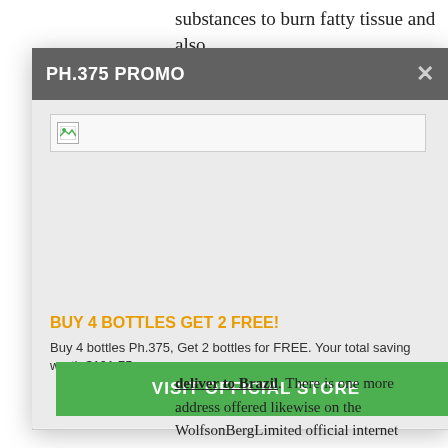substances to burn fatty tissue and also
PH.375 PROMO
[Figure (other): Broken image placeholder inside modal popup]
BUY 4 BOTTLES GET 2 FREE!
Buy 4 bottles Ph.375, Get 2 bottles for FREE. Your total saving worth $191.75
VISIT OFFICIAL STORE
deliver to Brazil. There is one more address offered likewise on the WolfsonBergLimited official internet